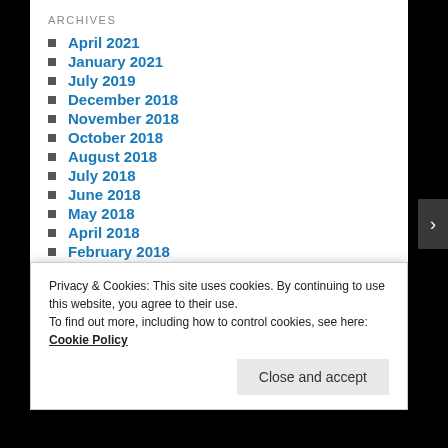ARCHIVES
April 2021
January 2021
July 2019
December 2018
November 2018
October 2018
August 2018
July 2018
June 2018
May 2018
April 2018
February 2018
January 2018
Privacy & Cookies: This site uses cookies. By continuing to use this website, you agree to their use.
To find out more, including how to control cookies, see here: Cookie Policy
Close and accept